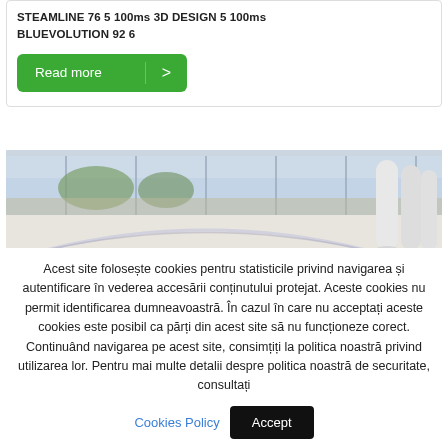STEAMLINE 76 5 100ms 3D DESIGN 5 100ms BLUEVOLUTION 92 6
Read more >
[Figure (photo): Interior architectural photo showing a modern glass railing staircase with white cylindrical columns and large glass facade windows with outdoor landscape visible]
Acest site folosește cookies pentru statisticile privind navigarea și autentificare în vederea accesării conținutului protejat. Aceste cookies nu permit identificarea dumneavoastră. În cazul în care nu acceptați aceste cookies este posibil ca părți din acest site să nu funcționeze corect. Continuând navigarea pe acest site, consimțiți la politica noastră privind utilizarea lor. Pentru mai multe detalii despre politica noastră de securitate, consultați
Cookies Policy
Accept